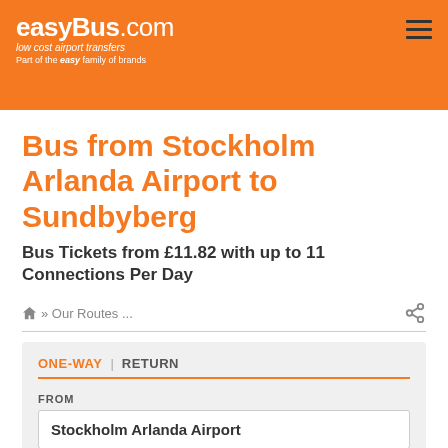easyBus.com — low cost airport transfers — Part of the easy family of brands
Bus from Stockholm Arlanda Airport to Sundbyberg
Bus Tickets from £11.82 with up to 11 Connections Per Day
» Our Routes ...
ONE-WAY | RETURN
FROM
Stockholm Arlanda Airport
TO
Sundbyberg